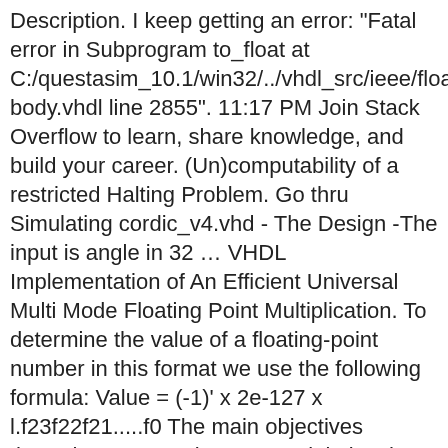Description. I keep getting an error: "Fatal error in Subprogram to_float at C:/questasim_10.1/win32/../vhdl_src/ieee/float_generic_pkg-body.vhdl line 2855". 11:17 PM Join Stack Overflow to learn, share knowledge, and build your career. (Un)computability of a restricted Halting Problem. Go thru Simulating cordic_v4.vhd - The Design -The input is angle in 32 … VHDL Implementation of An Efficient Universal Multi Mode Floating Point Multiplication. To determine the value of a floating-point number in this format we use the following formula: Value = (-1)' x 2e-127 x l.f23f22f21.....f0 The main objectives throughout our work were to minimize the number of logic cells required for the adder and the multiplier, while at the same time keeping the speed of the operations at a reasonable level and maintaining IEEE 32-bit accuracy. '1' means hidden one for normalized floating-point values; If your needs are complex, the implementation (and debugging and verification) can take months. Can I make a leisure trip to California (vacation) in the